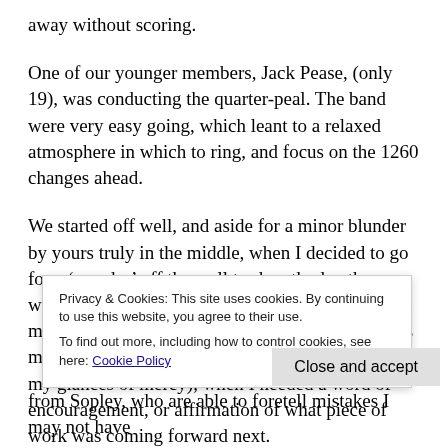away without scoring.
One of our younger members, Jack Pease, (only 19), was conducting the quarter-peal.  The band were very easy going, which leant to a relaxed atmosphere in which to ring, and focus on the 1260 changes ahead.
We started off well, and aside for a minor blunder by yours truly in the middle, when I decided to go for a ‘wander’ off the well trod method pathway, we scored the quarter-peal, and I was able to make my mark in the tower records book.  All the ringers made a great team, and could sense (probably by my glances of mercy), when I needed a word of encouragement, or affirmation of what piece of work was coming forward next.
from Sopley, who are able to foretell mistakes I may not have
Privacy & Cookies: This site uses cookies. By continuing to use this website, you agree to their use.
To find out more, including how to control cookies, see here: Cookie Policy
Close and accept